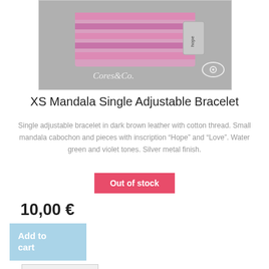[Figure (photo): Photo of a bracelet with pink/violet stripes and silver metal pieces with inscriptions. Watermark 'Cores&Co.' and an eye logo visible.]
XS Mandala Single Adjustable Bracelet
Single adjustable bracelet in dark brown leather with cotton thread. Small mandala cabochon and pieces with inscription "Hope" and "Love". Water green and violet tones. Silver metal finish.
Out of stock
10,00 €
Add to cart
More